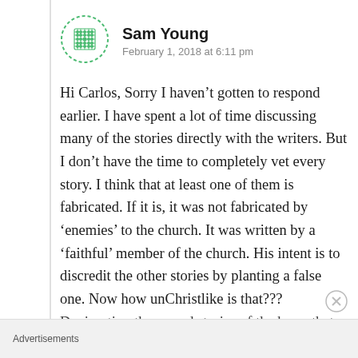[Figure (logo): Green circular snowflake/geometric avatar icon for Sam Young]
Sam Young
February 1, 2018 at 6:11 pm
Hi Carlos, Sorry I haven’t gotten to respond earlier. I have spent a lot of time discussing many of the stories directly with the writers. But I don’t have the time to completely vet every story. I think that at least one of them is fabricated. If it is, it was not fabricated by ‘enemies’ to the church. It was written by a ‘faithful’ member of the church. His intent is to discredit the other stories by planting a false one. Now how unChristlike is that???
Denigrating the sacred stories of the harm that
Advertisements